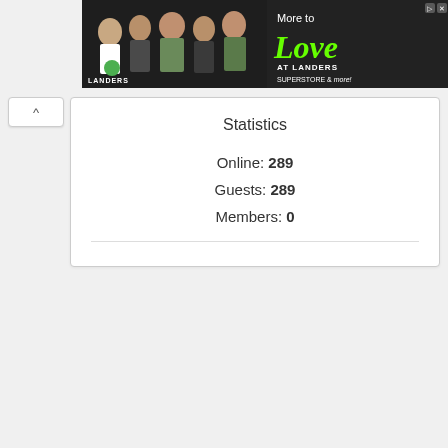[Figure (photo): Landers Superstore advertisement banner showing group of smiling people with text 'More to Love AT LANDERS SUPERSTORE & more!']
Statistics
Online: 289
Guests: 289
Members: 0